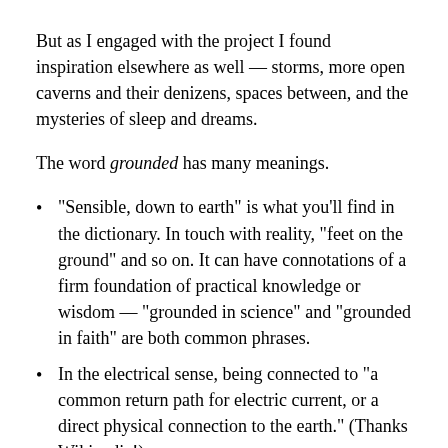But as I engaged with the project I found inspiration elsewhere as well — storms, more open caverns and their denizens, spaces between, and the mysteries of sleep and dreams.
The word grounded has many meanings.
“Sensible, down to earth” is what you’ll find in the dictionary. In touch with reality, “feet on the ground” and so on. It can have connotations of a firm foundation of practical knowledge or wisdom — “grounded in science” and “grounded in faith” are both common phrases.
In the electrical sense, being connected to “a common return path for electric current, or a direct physical connection to the earth.” (Thanks Wikipedia!)
Disallowed from flight, usually for safety